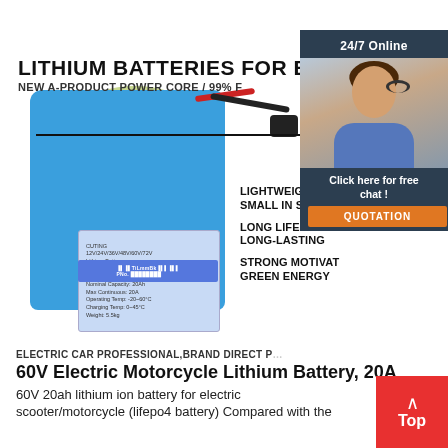[Figure (photo): Product image of a blue 60V lithium battery pack with red and black cables/connector, white background. Text overlays: 'LITHIUM BATTERIES FOR ELECTRIC', 'NEW A-PRODUCT POWER CORE / 99% F', 'LIGHTWEIGHT AN SMALL IN SIZE', 'LONG LIFE AND LONG-LASTING', 'STRONG MOTIVAT GREEN ENERGY'. Also includes a customer service chat widget in top-right corner with '24/7 Online', photo of woman with headset, 'Click here for free chat!', and 'QUOTATION' button.]
ELECTRIC CAR PROFESSIONAL,BRAND DIRECT P
60V Electric Motorcycle Lithium Battery, 20A
60V 20ah lithium ion battery for electric scooter/motorcycle (lifepo4 battery) Compared with the